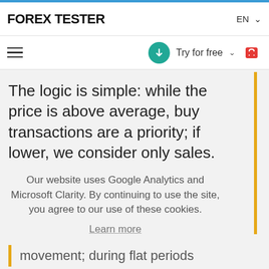FOREX TESTER
The logic is simple: while the price is above average, buy transactions are a priority; if lower, we consider only sales.
Our website uses Google Analytics and Microsoft Clarity. By continuing to use the site, you agree to our use of these cookies.
Learn more
Got it!
movement; during flat periods